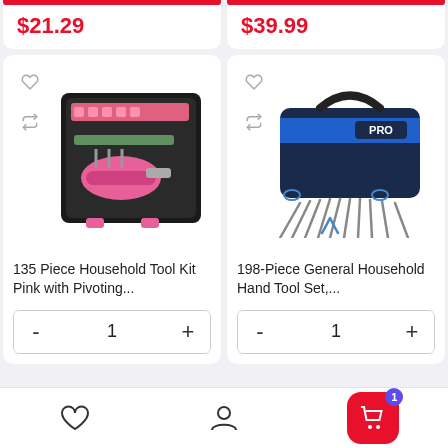$21.29
$39.99
[Figure (photo): Pink 135 Piece Household Tool Kit in black case with pink drill]
135 Piece Household Tool Kit Pink with Pivoting...
[Figure (photo): 198-Piece General Household Hand Tool Set in blue bag with tools spread out]
198-Piece General Household Hand Tool Set,...
Bottom navigation bar with wishlist, account, and cart (1) icons